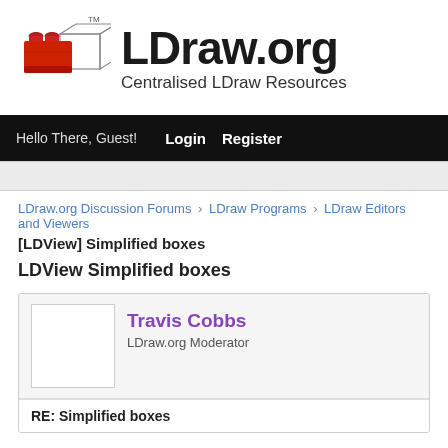[Figure (logo): LDraw.org logo: red LEGO brick with wireframe box outline and TM mark]
LDraw.org
Centralised LDraw Resources
Hello There, Guest!   Login   Register
LDraw.org Discussion Forums › LDraw Programs › LDraw Editors and Viewers
[LDView] Simplified boxes
LDView Simplified boxes
Travis Cobbs
LDraw.org Moderator
RE: Simplified boxes